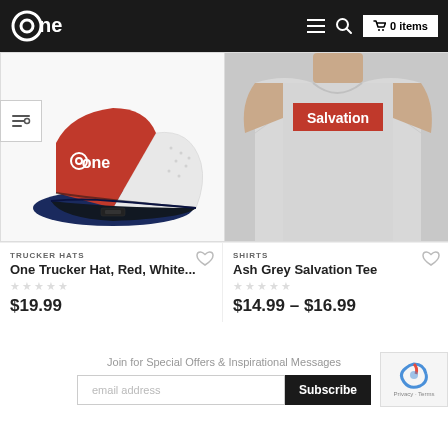one — 0 items
[Figure (photo): Red, white and navy blue trucker hat with 'one' logo on the front panel]
[Figure (photo): Man wearing ash grey t-shirt with red 'Salvation' box logo graphic]
TRUCKER HATS
One Trucker Hat, Red, White...
$19.99
SHIRTS
Ash Grey Salvation Tee
$14.99 – $16.99
Join for Special Offers & Inspirational Messages
email address
Subscribe